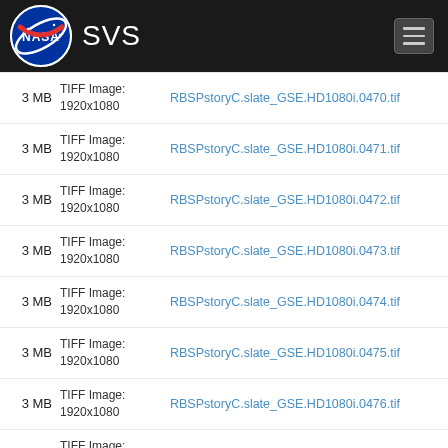NASA SVS
3 MB | TIFF Image: 1920x1080 | RBSPstoryC.slate_GSE.HD1080i.0470.tif
3 MB | TIFF Image: 1920x1080 | RBSPstoryC.slate_GSE.HD1080i.0471.tif
3 MB | TIFF Image: 1920x1080 | RBSPstoryC.slate_GSE.HD1080i.0472.tif
3 MB | TIFF Image: 1920x1080 | RBSPstoryC.slate_GSE.HD1080i.0473.tif
3 MB | TIFF Image: 1920x1080 | RBSPstoryC.slate_GSE.HD1080i.0474.tif
3 MB | TIFF Image: 1920x1080 | RBSPstoryC.slate_GSE.HD1080i.0475.tif
3 MB | TIFF Image: 1920x1080 | RBSPstoryC.slate_GSE.HD1080i.0476.tif
3 MB | TIFF Image: 1920x1080 | RBSPstoryC.slate_GSE.HD1080i.0477.tif
3 MB | TIFF Image: 1920x1080 | RBSPstoryC.slate_GSE.HD1080i.0478.tif
3 MB | TIFF Image: 1920x1080 | RBSPstoryC.slate_GSE.HD1080i.0479.tif